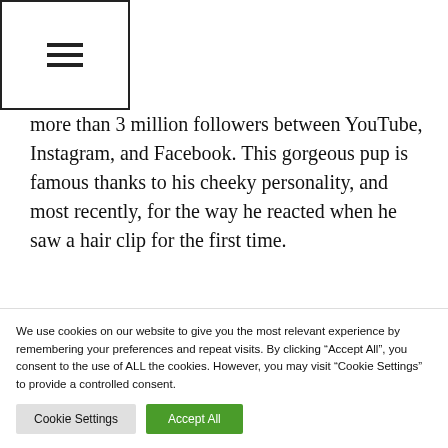☰
more than 3 million followers between YouTube, Instagram, and Facebook. This gorgeous pup is famous thanks to his cheeky personality, and most recently, for the way he reacted when he saw a hair clip for the first time.
Can a Golden Retriever be a guide dog?
Labradors, Golden Retrievers and German
We use cookies on our website to give you the most relevant experience by remembering your preferences and repeat visits. By clicking "Accept All", you consent to the use of ALL the cookies. However, you may visit "Cookie Settings" to provide a controlled consent.